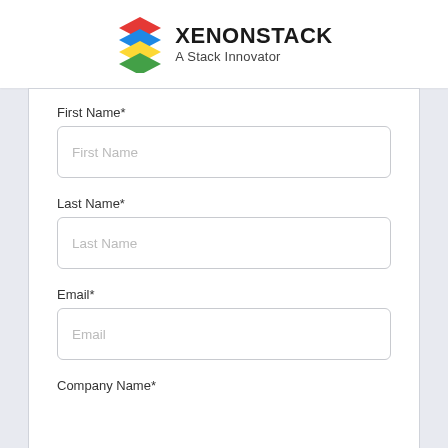[Figure (logo): XenonStack logo with layered colored diamond shapes and text 'XENONSTACK A Stack Innovator']
First Name*
First Name (placeholder)
Last Name*
Last Name (placeholder)
Email*
Email (placeholder)
Company Name*